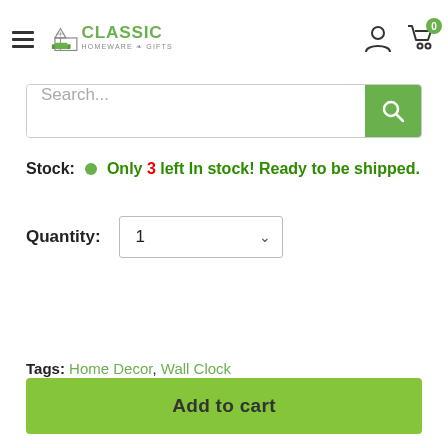[Figure (logo): Classic Homeware & Gifts logo with house icon and sofa]
Search...
Stock: Only 3 left In stock! Ready to be shipped.
Quantity: 1
Tags: Home Decor, Wall Clock
Add to cart